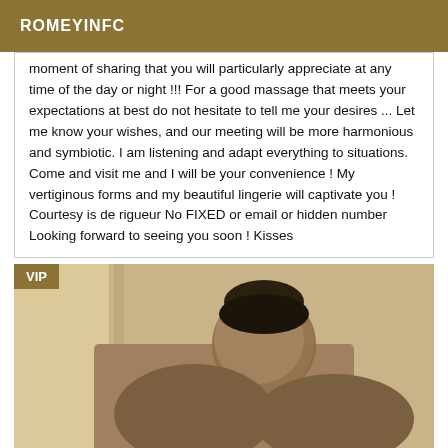ROMEYINFC
moment of sharing that you will particularly appreciate at any time of the day or night !!! For a good massage that meets your expectations at best do not hesitate to tell me your desires ... Let me know your wishes, and our meeting will be more harmonious and symbiotic. I am listening and adapt everything to situations. Come and visit me and I will be your convenience ! My vertiginous forms and my beautiful lingerie will captivate you ! Courtesy is de rigueur No FIXED or email or hidden number Looking forward to seeing you soon ! Kisses
[Figure (photo): Photo of a person, face blurred, with VIP badge overlay in top-left corner. Warm beige/tan background tones.]